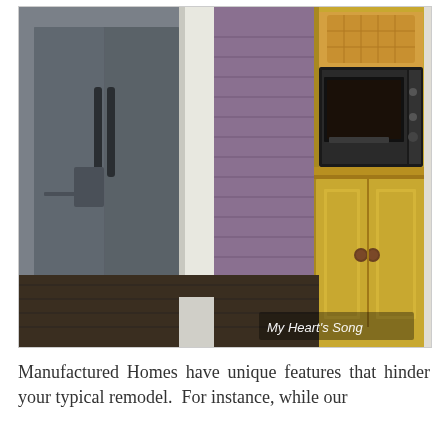[Figure (photo): Interior kitchen photo showing a stainless steel refrigerator on the left, a purple/mauve louvered door in the middle background, and a tall yellow painted wooden cabinet/hutch on the right holding a toaster oven and wicker basket on top, with dark hardwood flooring. Watermark text 'My Heart's Song' in lower right corner.]
Manufactured Homes have unique features that hinder your typical remodel.  For instance, while our